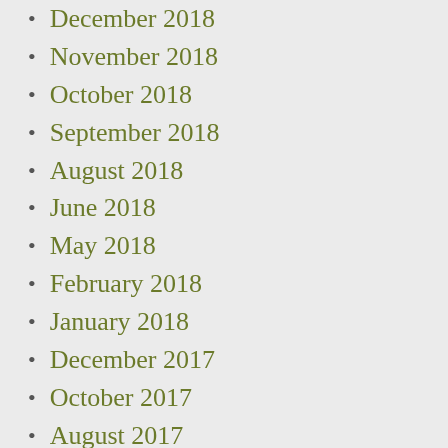December 2018
November 2018
October 2018
September 2018
August 2018
June 2018
May 2018
February 2018
January 2018
December 2017
October 2017
August 2017
June 2017
April 2017
February 2017
January 2017